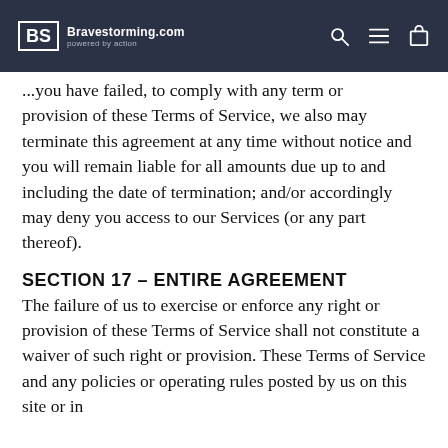Bravestorming.com powered by action
...you have failed, to comply with any term or provision of these Terms of Service, we also may terminate this agreement at any time without notice and you will remain liable for all amounts due up to and including the date of termination; and/or accordingly may deny you access to our Services (or any part thereof).
SECTION 17 – ENTIRE AGREEMENT
The failure of us to exercise or enforce any right or provision of these Terms of Service shall not constitute a waiver of such right or provision. These Terms of Service and any policies or operating rules posted by us on this site or in...